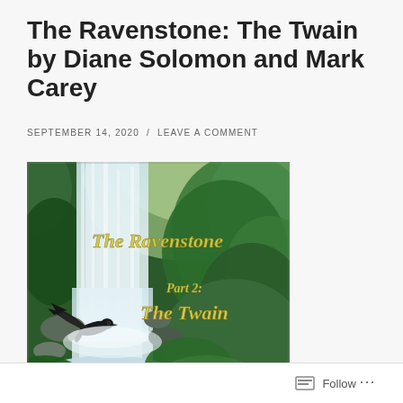The Ravenstone: The Twain by Diane Solomon and Mark Carey
SEPTEMBER 14, 2020  /  LEAVE A COMMENT
[Figure (illustration): Album cover art for 'The Ravenstone Part 2: The Twain' — a lush green waterfall scene with a raven in flight, with ornate golden text reading 'The Ravenstone' and 'Part 2: The Twain']
Follow